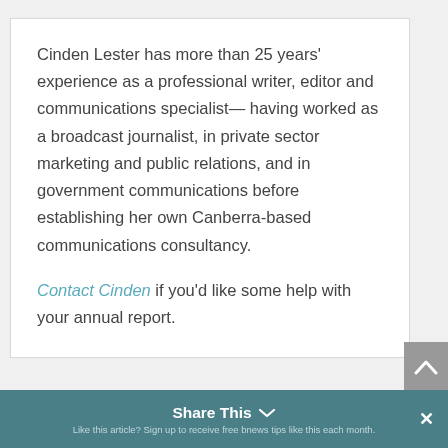Cinden Lester has more than 25 years' experience as a professional writer, editor and communications specialist—having worked as a broadcast journalist, in private sector marketing and public relations, and in government communications before establishing her own Canberra-based communications consultancy.
Contact Cinden if you'd like some help with your annual report.
Share This   Like this article? Sign up to receive free bnews tips like this each month.